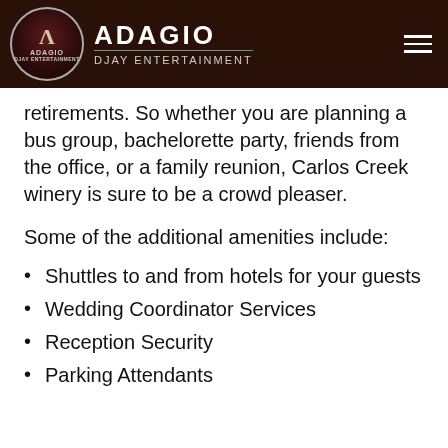[Figure (logo): Adagio DJay Entertainment logo with circular emblem on dark brown header background with hamburger menu icon]
retirements. So whether you are planning a bus group, bachelorette party, friends from the office, or a family reunion, Carlos Creek winery is sure to be a crowd pleaser.
Some of the additional amenities include:
Shuttles to and from hotels for your guests
Wedding Coordinator Services
Reception Security
Parking Attendants